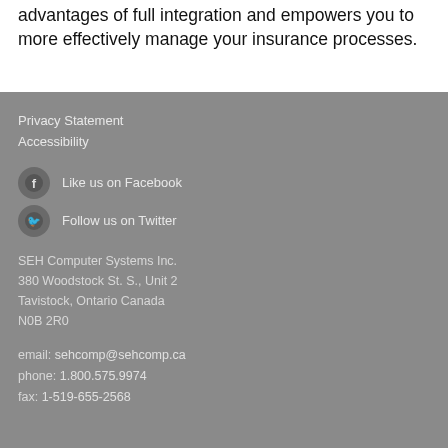advantages of full integration and empowers you to more effectively manage your insurance processes.
Privacy Statement
Accessibility
Like us on Facebook
Follow us on Twitter
SEH Computer Systems Inc.
380 Woodstock St. S., Unit 2
Tavistock, Ontario Canada
N0B 2R0
email: sehcomp@sehcomp.ca
phone: 1.800.575.9974
fax: 1-519-655-2568